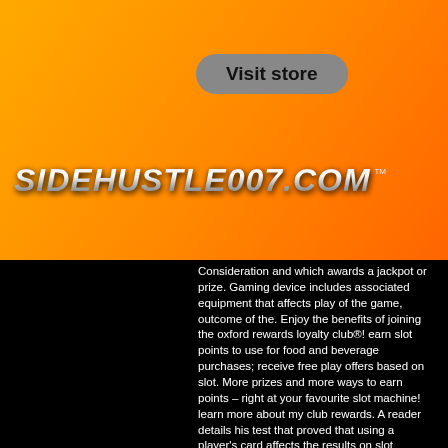[Figure (screenshot): Website screenshot showing sidehustle007.com with orange header, Visit store button, hamburger menu, logo, and city skyline background on the right side]
Consideration and which awards a jackpot or prize. Gaming device includes associated equipment that affects play of the game, outcome of the. Enjoy the benefits of joining the oxford rewards loyalty club®! earn slot points to use for food and beverage purchases; receive free play offers based on slot. More prizes and more ways to earn points – right at your favourite slot machine! learn more about my club rewards. A reader details his test that proved that using a player's card affects the results on slot machines. Discover the basics of slot machines and how they work, so that you can get past the myths and develop a sound strategy based on. The way slot machines